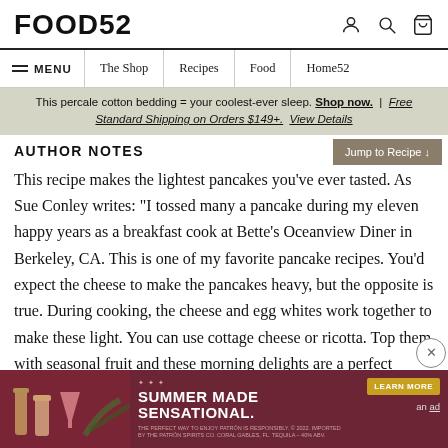FOOD52
This percale cotton bedding = your coolest-ever sleep. Shop now. | Free Standard Shipping on Orders $149+. View Details
AUTHOR NOTES
This recipe makes the lightest pancakes you’ve ever tasted. As Sue Conley writes: “I tossed many a pancake during my eleven happy years as a breakfast cook at Bette’s Oceanview Diner in Berkeley, CA. This is one of my favorite pancake recipes. You’d expect the cheese to make the pancakes heavy, but the opposite is true. During cooking, the cheese and egg whites work together to make these light. You can use cottage cheese or ricotta. Top them with seasonal fruit and these morning delights are a perfect wake-me-up for
[Figure (screenshot): Advertisement banner for Patrón tequila - Summer Made Sensational with cocktail bottles image]